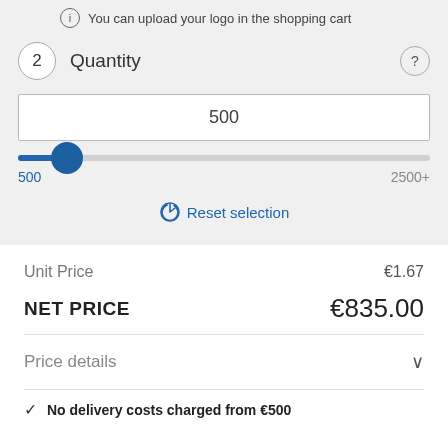You can upload your logo in the shopping cart
2  Quantity
500
500  2500+
Reset selection
Unit Price  €1.67
NET PRICE  €835.00
Price details
No delivery costs charged from €500